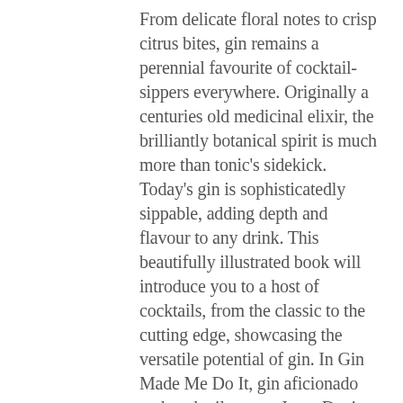From delicate floral notes to crisp citrus bites, gin remains a perennial favourite of cocktail-sippers everywhere. Originally a centuries old medicinal elixir, the brilliantly botanical spirit is much more than tonic's sidekick. Today's gin is sophisticatedly sippable, adding depth and flavour to any drink. This beautifully illustrated book will introduce you to a host of cocktails, from the classic to the cutting edge, showcasing the versatile potential of gin. In Gin Made Me Do It, gin aficionado and cocktail maven Jassy Davis explains everything you need to know: how to choose the right